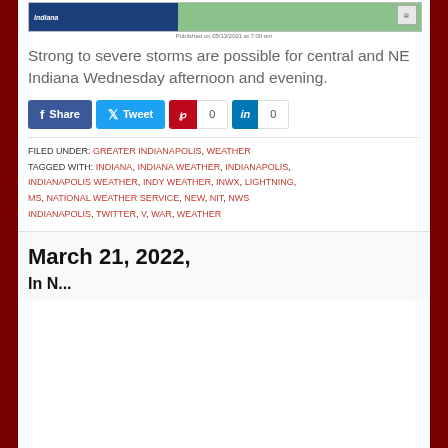[Figure (screenshot): NWS Indiana weather map screenshot showing storm outlook for Indiana]
Published on 05/13/2021 at 7:00 am
Strong to severe storms are possible for central and NE Indiana Wednesday afternoon and evening.
Share  Tweet  0  0
FILED UNDER: GREATER INDIANAPOLIS, WEATHER
TAGGED WITH: INDIANA, INDIANA WEATHER, INDIANAPOLIS, INDIANAPOLIS WEATHER, INDY WEATHER, INWX, LIGHTNING, MS, NATIONAL WEATHER SERVICE, NEW, NIT, NWS INDIANAPOLIS, TWITTER, V, WAR, WEATHER
March 21, 2022,